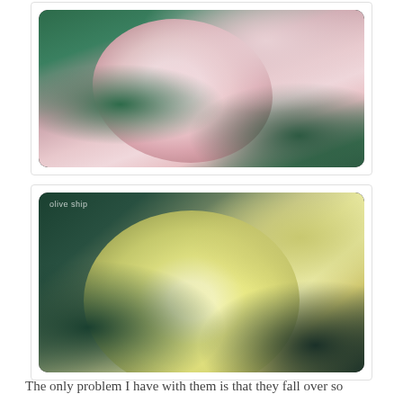[Figure (photo): Close-up photograph of a pale pink ruffled flower (hollyhock) with green foliage in the background, slightly desaturated vintage style]
[Figure (photo): Close-up photograph of a cream/pale yellow ruffled flower (hollyhock) with dark green foliage, vintage-toned, with a small watermark in the top-left corner reading 'olive ship']
The only problem I have with them is that they fall over so